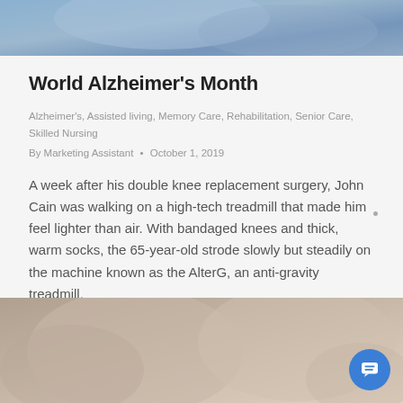[Figure (photo): Top portion of a photo showing blue gloved hands, likely in a medical or laboratory setting]
World Alzheimer's Month
Alzheimer's, Assisted living, Memory Care, Rehabilitation, Senior Care, Skilled Nursing
By Marketing Assistant • October 1, 2019
A week after his double knee replacement surgery, John Cain was walking on a high-tech treadmill that made him feel lighter than air. With bandaged knees and thick, warm socks, the 65-year-old strode slowly but steadily on the machine known as the AlterG, an anti-gravity treadmill.
[Figure (photo): Bottom portion of a photo showing two elderly people wearing glasses, facing each other]